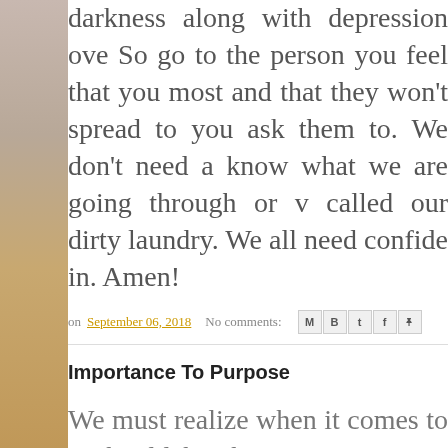darkness along with depression ove So go to the person you feel that you most and that they won't spread to you ask them to. We don't need a know what we are going through or v called our dirty laundry. We all need confide in. Amen!
on September 06, 2018   No comments:
Importance To Purpose
We must realize when it comes to c should be the most important thin mean that other things are not importa